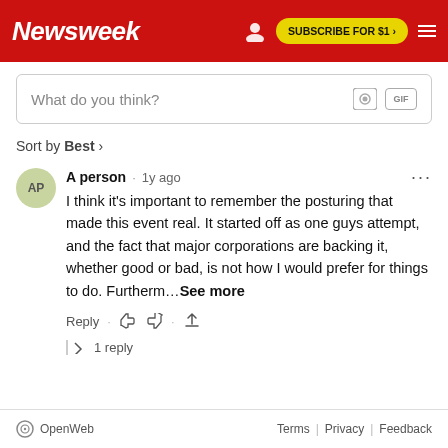Newsweek | SUBSCRIBE FOR $1 >
What do you think?
Sort by Best
A person · 1y ago
I think it's important to remember the posturing that made this event real. It started off as one guys attempt, and the fact that major corporations are backing it, whether good or bad, is not how I  would prefer for things to do. Furtherm…See more
Reply · 1 reply
OpenWeb   Terms | Privacy | Feedback